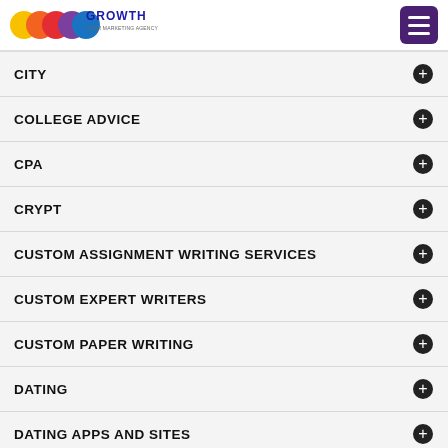GROWTH logo and hamburger menu
CITY
COLLEGE ADVICE
CPA
CRYPT
CUSTOM ASSIGNMENT WRITING SERVICES
CUSTOM EXPERT WRITERS
CUSTOM PAPER WRITING
DATING
DATING APPS AND SITES
DATING TIPS